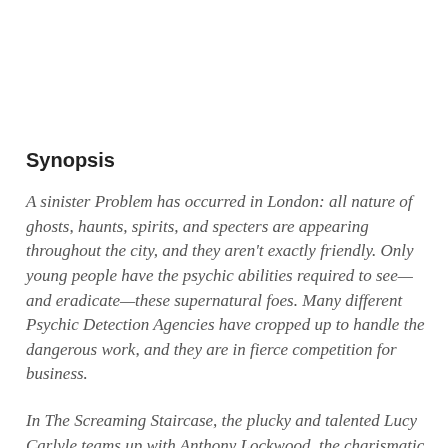Synopsis
A sinister Problem has occurred in London: all nature of ghosts, haunts, spirits, and specters are appearing throughout the city, and they aren't exactly friendly. Only young people have the psychic abilities required to see—and eradicate—these supernatural foes. Many different Psychic Detection Agencies have cropped up to handle the dangerous work, and they are in fierce competition for business.
In The Screaming Staircase, the plucky and talented Lucy Carlyle teams up with Anthony Lockwood, the charismatic leader of Lockwood & Co, a small agency that runs independent of any adult supervision. After an assignment